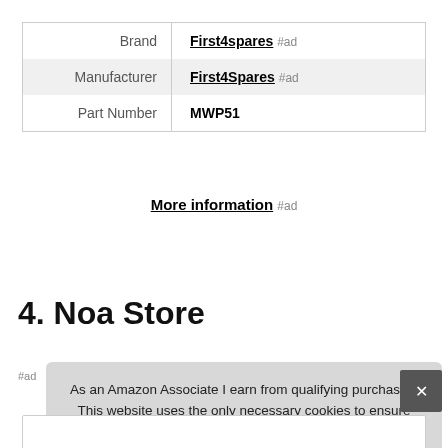| Brand | First4spares #ad |
| Manufacturer | First4Spares #ad |
| Part Number | MWP51 |
More information #ad
4. Noa Store
As an Amazon Associate I earn from qualifying purchases. This website uses the only necessary cookies to ensure you get the best experience on our website. More information